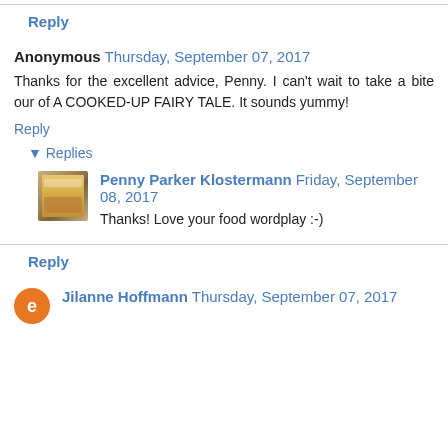Reply
Anonymous  Thursday, September 07, 2017
Thanks for the excellent advice, Penny. I can't wait to take a bite our of A COOKED-UP FAIRY TALE. It sounds yummy!
Reply
▾ Replies
Penny Parker Klostermann  Friday, September 08, 2017
Thanks! Love your food wordplay :-)
Reply
Jilanne Hoffmann  Thursday, September 07, 2017